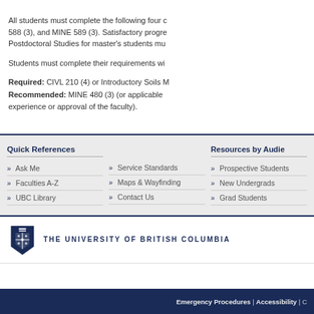All students must complete the following four core courses: MINE 588 (3), and MINE 589 (3). Satisfactory progress as required by Postdoctoral Studies for master's students mu...
Students must complete their requirements wi...
Required: CIVL 210 (4) or Introductory Soils M... Recommended: MINE 480 (3) (or applicable experience or approval of the faculty).
Quick References
» Ask Me
» Faculties A-Z
» UBC Library
» Service Standards
» Maps & Wayfinding
» Contact Us
Resources by Audie...
» Prospective Students
» New Undergrads
» Grad Students
THE UNIVERSITY OF BRITISH COLUMBIA
Emergency Procedures | Accessibility | C...